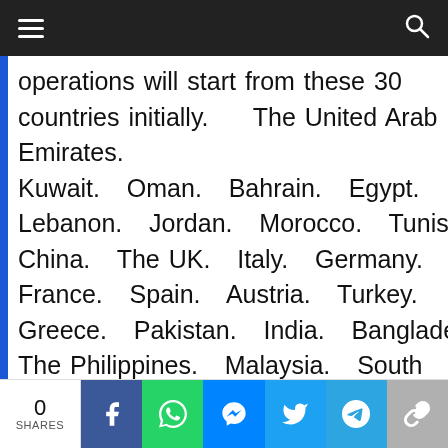Navigation bar with hamburger menu and search icon
operations will start from these 30 countries initially. The United Arab Emirates. Kuwait. Oman. Bahrain. Egypt. Lebanon. Jordan. Morocco. Tunisia. China. The UK. Italy. Germany. France. Spain. Austria. Turkey. Greece. Pakistan. India. Bangladesh. The Philippines. Malaysia. South Africa. Sudan. Ethiopia. Kenya. Nigeria. Indonesia. Saudi Arabia.
0 SHARES — social share buttons: Facebook, WhatsApp, Messenger, Twitter, Telegram, Link